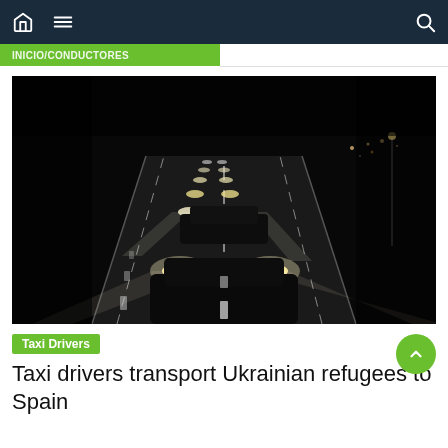Navigation bar with home, menu and search icons
[Figure (photo): Night highway scene with a convoy of cars with headlights on, viewed from above, driving on a dark road]
Taxi Drivers
Taxi drivers transport Ukrainian refugees to Spain